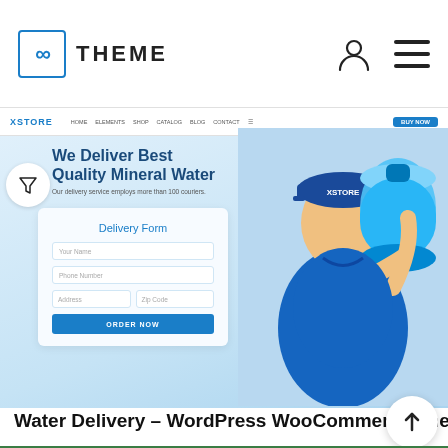∞ THEME
[Figure (screenshot): XStore Water Delivery WordPress WooCommerce theme screenshot showing a delivery man in blue uniform carrying a large water jug, with a delivery form overlay and hero text 'We Deliver Best Quality Mineral Water']
Water Delivery – WordPress WooCommerce The…
[Figure (screenshot): XFurno WordPress WooCommerce theme screenshot showing green header navigation bar with store categories sidebar]